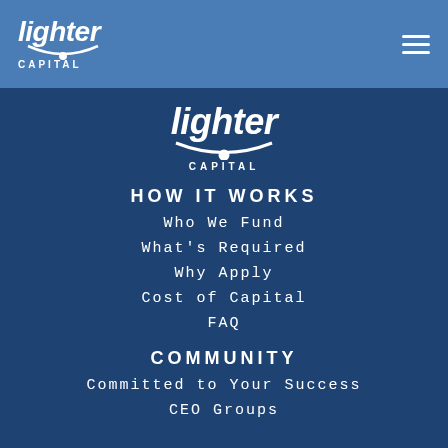[Figure (logo): Lighter Capital logo in top navigation bar, white text on blue background with italic 'lighter' wordmark and 'CAPITAL' subtitle]
[Figure (logo): Lighter Capital logo centered, white text on dark blue background with italic 'lighter' wordmark, arc underline, and 'CAPITAL' subtitle]
HOW IT WORKS
Who We Fund
What's Required
Why Apply
Cost of Capital
FAQ
COMMUNITY
Committed to Your Success
CEO Groups